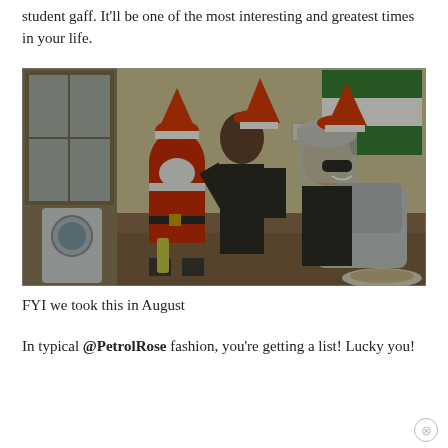student gaff. It'll be one of the most interesting and greatest times in your life.
[Figure (photo): Three people in Santa costumes sitting on a couch in a student house. One person is in a full red Santa suit with white beard, another in a black top with Santa hat, and a third smiling person with red hair wearing a black hoodie and Santa hat. A green and white flag is hung on the wall in the background, along with a visible washing machine through a doorway.]
FYI we took this in August
In typical @PetrolRose fashion, you're getting a list! Lucky you!